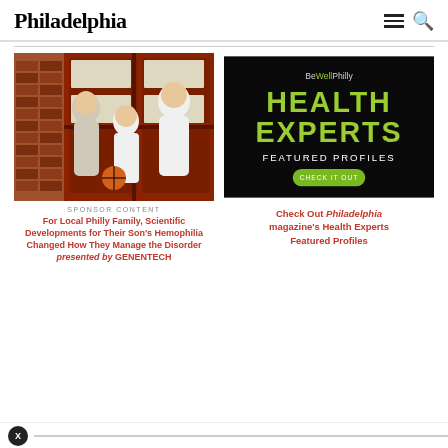Philadelphia
[Figure (photo): Family of three (mother, father, and son holding basketball) posing in front of a red barn door]
SPONSOR CONTENT
For Local Philly Family, Scientific Developments for Their Son's Hemophilia Changed How They Manage the Disorder presented by GENENTECH
[Figure (other): BeWellPhilly Health Experts Featured Profiles advertisement with dark background and green/white text and a CHECK IT OUT button]
Check Out Philadelphia magazine's Health Experts Featured Profiles